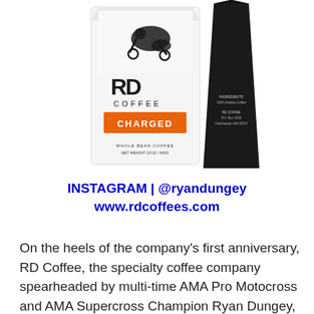[Figure (photo): Two RD Coffee products side by side: a white bag labeled 'RD COFFEE CHARGED WHOLE BEAN COFFEE NET WEIGHT 12OZ / 340G' and a dark black bottle/bag. The white bag features a motocross rider graphic and an orange 'CHARGED' label.]
INSTAGRAM | @ryandungey
www.rdcoffees.com
On the heels of the company’s first anniversary, RD Coffee, the specialty coffee company spearheaded by multi-time AMA Pro Motocross and AMA Supercross Champion Ryan Dungey, has introduced